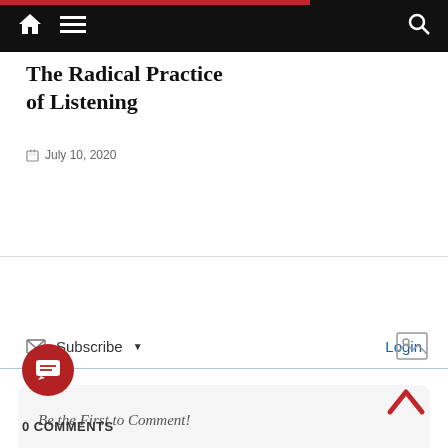Navigation bar with home icon, menu icon, and search icon
The Radical Practice of Listening
July 10, 2020
Subscribe  Login
Be the First to Comment!
0 COMMENTS